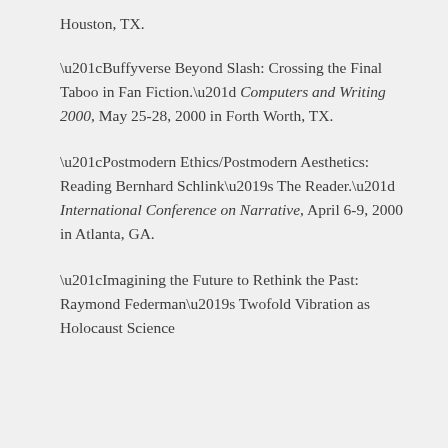Houston, TX.
“Buffyverse Beyond Slash: Crossing the Final Taboo in Fan Fiction.” Computers and Writing 2000, May 25-28, 2000 in Forth Worth, TX.
“Postmodern Ethics/Postmodern Aesthetics: Reading Bernhard Schlink’s The Reader.” International Conference on Narrative, April 6-9, 2000 in Atlanta, GA.
“Imagining the Future to Rethink the Past: Raymond Federman’s Twofold Vibration as Holocaust Science…